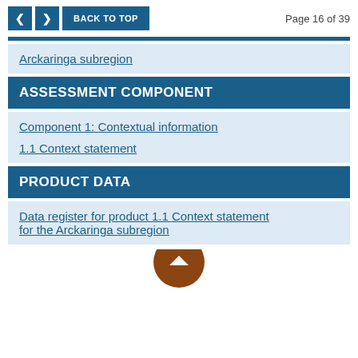Page 16 of 39
Arckaringa subregion
ASSESSMENT COMPONENT
Component 1: Contextual information
1.1 Context statement
PRODUCT DATA
Data register for product 1.1 Context statement for the Arckaringa subregion